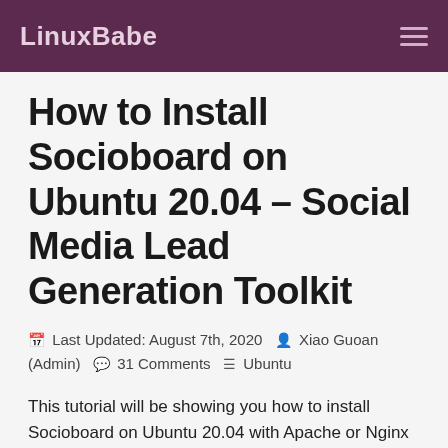LinuxBabe
How to Install Socioboard on Ubuntu 20.04 – Social Media Lead Generation Toolkit
📅 Last Updated: August 7th, 2020  👤 Xiao Guoan (Admin)  💬 31 Comments  📋 Ubuntu
This tutorial will be showing you how to install Socioboard on Ubuntu 20.04 with Apache or Nginx web